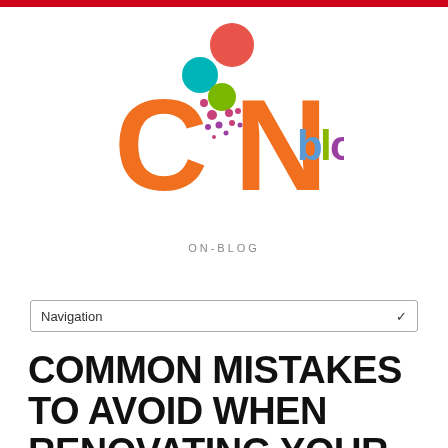[Figure (logo): ON-BLOG logo featuring large orange letters C and N, colorful bubbles/dots in teal, red/coral, green, pink/purple, blue letter 'b', olive/lime 'l', magenta/purple 'o', magenta 'g' forming the word 'blog', with tagline ON-BLOG below in grey letters]
Navigation
COMMON MISTAKES TO AVOID WHEN RENOVATING YOUR